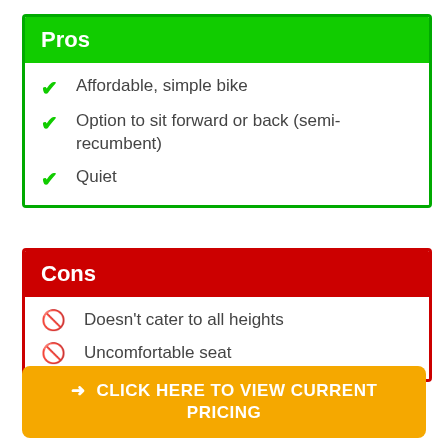Pros
Affordable, simple bike
Option to sit forward or back (semi-recumbent)
Quiet
Cons
Doesn't cater to all heights
Uncomfortable seat
→ CLICK HERE TO VIEW CURRENT PRICING